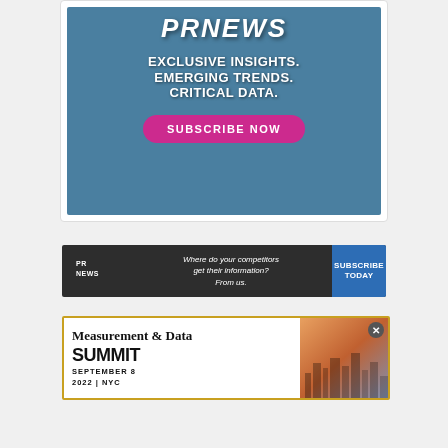[Figure (infographic): PR News subscription advertisement with blue overlaid background showing laptop/newspaper imagery. Text reads: PRNEWS, EXCLUSIVE INSIGHTS. EMERGING TRENDS. CRITICAL DATA. with a pink SUBSCRIBE NOW button.]
[Figure (infographic): PR News dark banner ad: PRNEWS logo on left, italic text 'Where do your competitors get their information? From us.' in center, blue SUBSCRIBE TODAY button on right.]
[Figure (infographic): Measurement & Data Summit advertisement with gold border. Text: Measurement & Data SUMMIT SEPTEMBER 8 2022 | NYC. City skyline photo on right. Close button (x) in top right corner.]